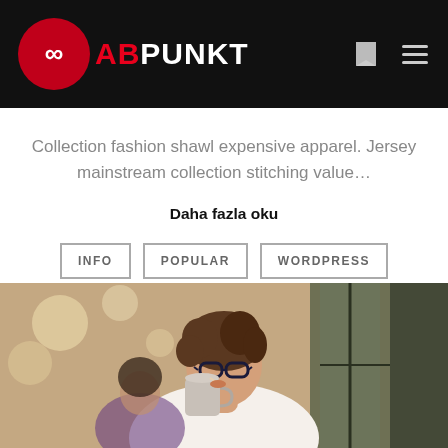ABPUNKT
Collection fashion shawl expensive apparel. Jersey mainstream collection stitching value…
Daha fazla oku
INFO   POPULAR   WORDPRESS
[Figure (photo): Young woman with glasses drinking from a mug/cup, sitting in what appears to be an outdoor cafe setting with bokeh lights in the background]